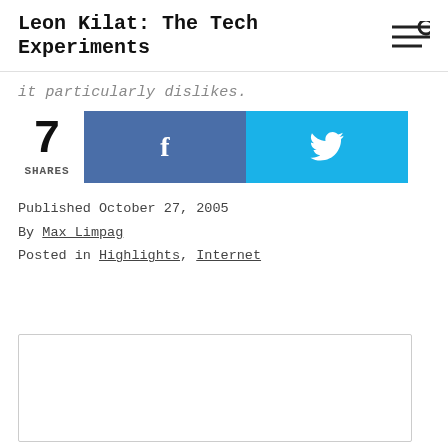Leon Kilat: The Tech Experiments
it particularly dislikes.
7 SHARES [Facebook share button] [Twitter share button]
Published October 27, 2005
By Max Limpag
Posted in Highlights, Internet
[Figure (other): Empty comment box with border]